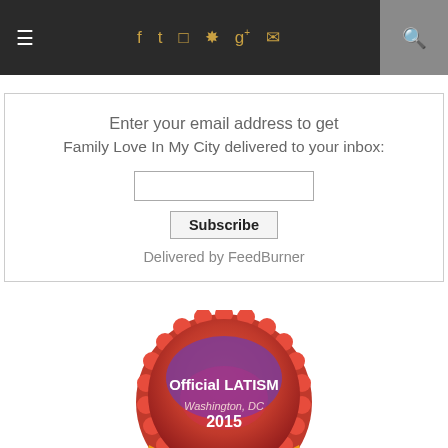≡  f  t  ⊡  p  g+  ✉  🔍
Enter your email address to get Family Love In My City delivered to your inbox:
Subscribe
Delivered by FeedBurner
[Figure (illustration): Official LATISM badge: Washington, DC 2015 Top Digital Influencer — circular red/orange/purple badge with scalloped edge]